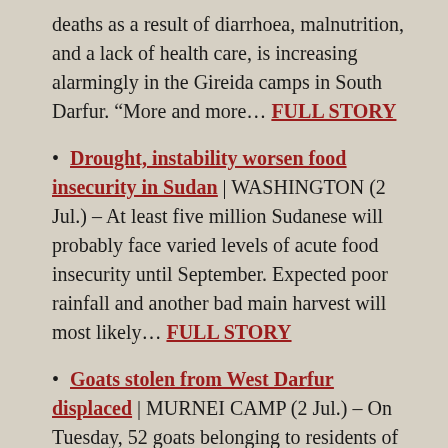deaths as a result of diarrhoea, malnutrition, and a lack of health care, is increasing alarmingly in the Gireida camps in South Darfur. “More and more… FULL STORY
Drought, instability worsen food insecurity in Sudan | WASHINGTON (2 Jul.) – At least five million Sudanese will probably face varied levels of acute food insecurity until September. Expected poor rainfall and another bad main harvest will most likely… FULL STORY
Goats stolen from West Darfur displaced | MURNEI CAMP (2 Jul.) – On Tuesday, 52 goats belonging to residents of the Murnei camp for the displaced in West Darfur, were stolen. A camp sheikh told Radio Dabanga that on Tuesday morning, five gunmen… FULL STORY
25 die, 35 wounded as Ma’aliya-Hamar clash in East